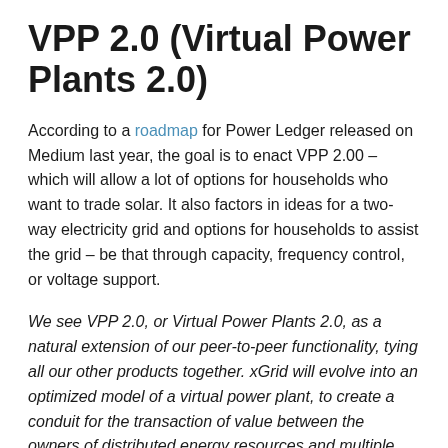VPP 2.0 (Virtual Power Plants 2.0)
According to a roadmap for Power Ledger released on Medium last year, the goal is to enact VPP 2.00 – which will allow a lot of options for households who want to trade solar. It also factors in ideas for a two-way electricity grid and options for households to assist the grid – be that through capacity, frequency control, or voltage support.
We see VPP 2.0, or Virtual Power Plants 2.0, as a natural extension of our peer-to-peer functionality, tying all our other products together. xGrid will evolve into an optimized model of a virtual power plant, to create a conduit for the transaction of value between the owners of distributed energy resources and multiple counterparties.
Self-executing smart contracts will integrate with physical switches in the network, creating an autonomous power market with secure value transfer between consumers, energy markets and networks. For example, a household with solar may